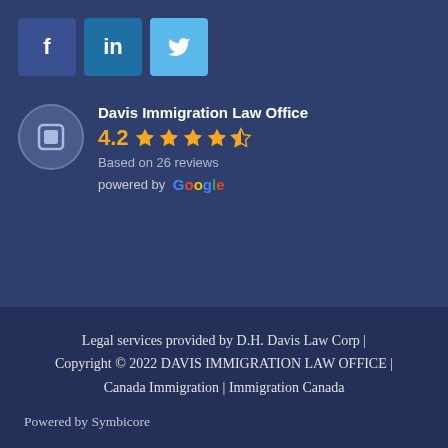[Figure (logo): Social media icons: Facebook (dark blue), LinkedIn (medium blue), Twitter (light blue)]
[Figure (infographic): Davis Immigration Law Office Google review widget showing 4.2 stars based on 26 reviews, powered by Google]
Legal services provided by D.H. Davis Law Corp | Copyright © 2022 DAVIS IMMIGRATION LAW OFFICE | Canada Immigration | Immigration Canada
Powered by Symbicore